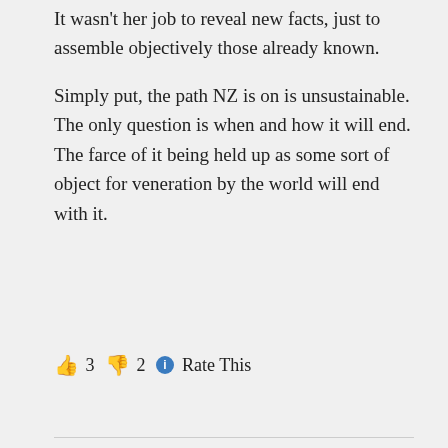It wasn't her job to reveal new facts, just to assemble objectively those already known.

Simply put, the path NZ is on is unsustainable. The only question is when and how it will end. The farce of it being held up as some sort of object for veneration by the world will end with it.
👍 3 👎 2 ℹ Rate This
↳ Reply